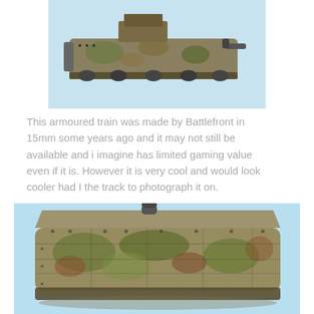[Figure (photo): Close-up photo of a 15mm scale armoured train model with camouflage paint scheme, viewed from the front-top angle showing detailed metal plating and wheels on a light blue background.]
This armoured train was made by Battlefront in 15mm some years ago and it may not still be available and i imagine has limited gaming value even if it is. However it is very cool and would look cooler had I the track to photograph it on.
[Figure (photo): Close-up photo of the same 15mm armoured train model showing the side and top detail with camouflage pattern in greens, browns and tans, with visible rivets, panels and a small gun barrel on top, on a light blue background.]